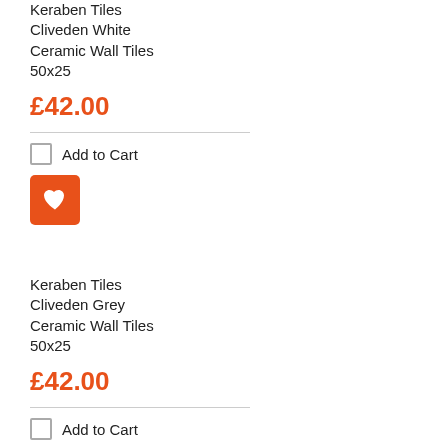Keraben Tiles Cliveden White Ceramic Wall Tiles 50x25
£42.00
Add to Cart
[Figure (other): Orange heart/wishlist button icon]
Keraben Tiles Cliveden Grey Ceramic Wall Tiles 50x25
£42.00
Add to Cart